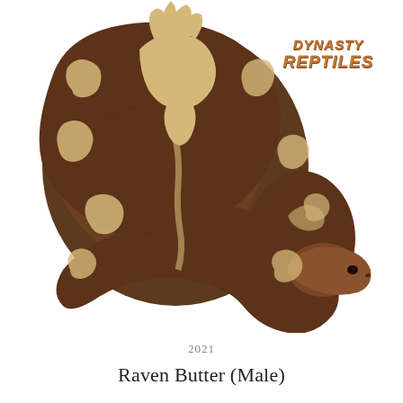[Figure (photo): A coiled ball python snake with dark brown body and pale cream/yellow patterned markings, photographed on a white background. The snake's head is visible to the right side facing forward. Dynasty Reptiles logo appears in the upper right of the image.]
2021
Raven Butter (Male)